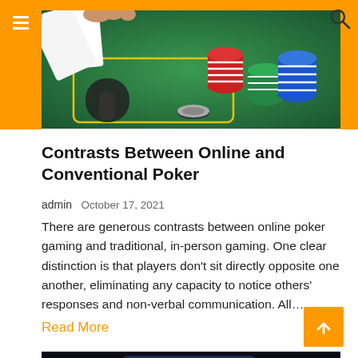[Figure (photo): Poker chips and playing cards on a green casino table, with a hand visible at top]
Contrasts Between Online and Conventional Poker
admin   October 17, 2021
There are generous contrasts between online poker gaming and traditional, in-person gaming. One clear distinction is that players don't sit directly opposite one another, eliminating any capacity to notice others' responses and non-verbal communication. All…
Read More
[Figure (photo): Online casino gaming on a tablet device, dark background with blue badge reading ONLINE CASINO]